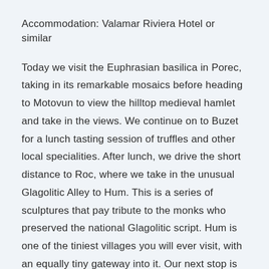Accommodation: Valamar Riviera Hotel or similar
Today we visit the Euphrasian basilica in Porec, taking in its remarkable mosaics before heading to Motovun to view the hilltop medieval hamlet and take in the views. We continue on to Buzet for a lunch tasting session of truffles and other local specialities. After lunch, we drive the short distance to Roc, where we take in the unusual Glagolitic Alley to Hum. This is a series of sculptures that pay tribute to the monks who preserved the national Glagolitic script. Hum is one of the tiniest villages you will ever visit, with an equally tiny gateway into it. Our next stop is the small village of Beram where we visit the Church of St Mary with its wonderful wall paintings illustrating